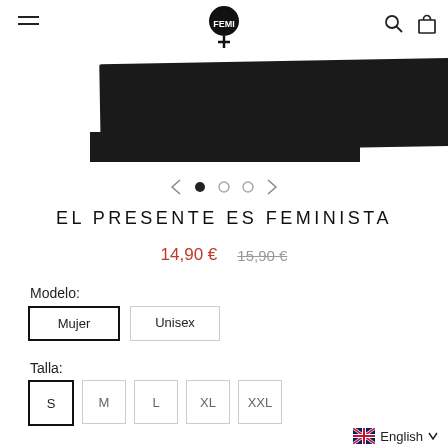EL PRESENTE ES FEMINISTA - store header with logo and navigation icons
[Figure (photo): Bottom portion of a black t-shirt on white background, cropped — only the lower folded hem visible]
[Figure (other): Carousel navigation: left arrow, filled circle dot, empty circle dot, empty circle dot, right arrow]
EL PRESENTE ES FEMINISTA
14,90 €  15,90 €
Modelo:
Mujer  Unisex
Talla:
S  M  L  XL  XXL
English